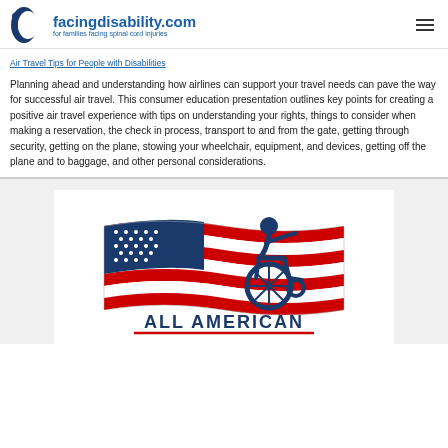facingdisability.com — for families facing spinal cord injuries
Air Travel Tips for People with Disabilities
Planning ahead and understanding how airlines can support your travel needs can pave the way for successful air travel. This consumer education presentation outlines key points for creating a positive air travel experience with tips on understanding your rights, things to consider when making a reservation, the check in process, transport to and from the gate, getting through security, getting on the plane, stowing your wheelchair, equipment, and devices, getting off the plane and to baggage, and other personal considerations.
[Figure (logo): All American logo featuring a stylized wheelchair user with an American flag waving behind them, with the text ALL AMERICAN below in bold dark blue letters]